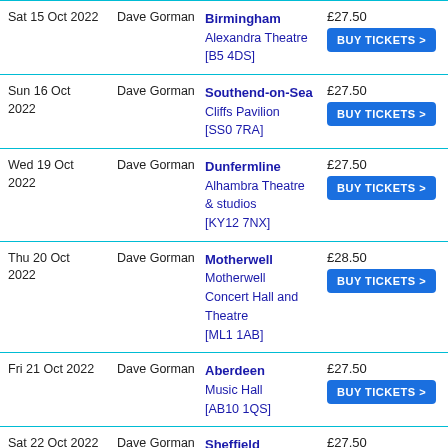| Date | Artist | Venue | Price | Action |
| --- | --- | --- | --- | --- |
| Sat 15 Oct 2022 | Dave Gorman | Birmingham
Alexandra Theatre
[B5 4DS] | £27.50 | BUY TICKETS > |
| Sun 16 Oct 2022 | Dave Gorman | Southend-on-Sea
Cliffs Pavilion
[SS0 7RA] | £27.50 | BUY TICKETS > |
| Wed 19 Oct 2022 | Dave Gorman | Dunfermline
Alhambra Theatre & studios
[KY12 7NX] | £27.50 | BUY TICKETS > |
| Thu 20 Oct 2022 | Dave Gorman | Motherwell
Motherwell Concert Hall and Theatre
[ML1 1AB] | £28.50 | BUY TICKETS > |
| Fri 21 Oct 2022 | Dave Gorman | Aberdeen
Music Hall
[AB10 1QS] | £27.50 | BUY TICKETS > |
| Sat 22 Oct 2022 | Dave Gorman | Sheffield
City Hall
[S1 2JA] | £27.50 | BUY TICKETS > |
| Sat 29 Oct 2022 | Dave Gorman | Halifax
Victoria Theatre | £27.50 | BUY TICKETS > |